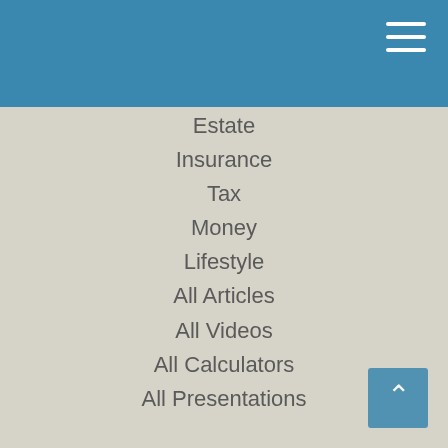Estate
Insurance
Tax
Money
Lifestyle
All Articles
All Videos
All Calculators
All Presentations
Check the background of your financial professional on FINRA's BrokerCheck.
The content is developed from sources believed to be providing accurate information. The information in this material is not intended as tax or legal advice. Please consult legal or tax professionals for specific information regarding your individual situation. Some of this material was developed and produced by FMG Suite to provide information on a topic that may be of interest.